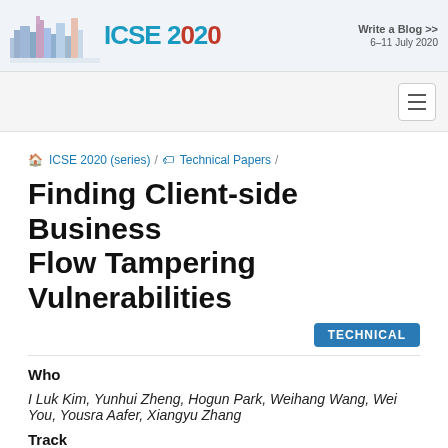[Figure (logo): ICSE 2020 conference logo with city skyline illustration and 'ICSE 2020' text, 6-11 July 2020, with 'Write a Blog >>' link]
🏠 ICSE 2020 (series) / 🏷 Technical Papers /
Finding Client-side Business Flow Tampering Vulnerabilities
TECHNICAL
Who
I Luk Kim, Yunhui Zheng, Hogun Park, Weihang Wang, Wei You, Yousra Aafer, Xiangyu Zhang
Track
ICSE 2020 Technical Papers
When